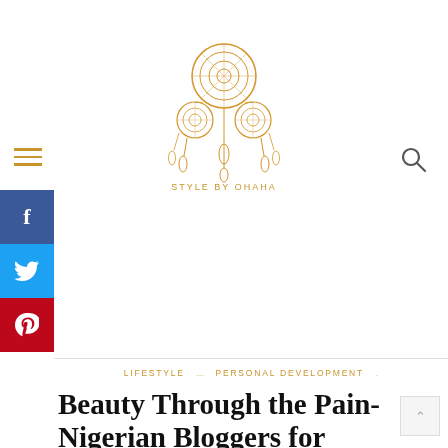[Figure (logo): Dream catcher logo with text 'STYLE BY OHAHA' below it, golden/orange color]
LIFESTYLE   PERSONAL DEVELOPMENT
Beauty Through the Pain- Nigerian Bloggers for Breast